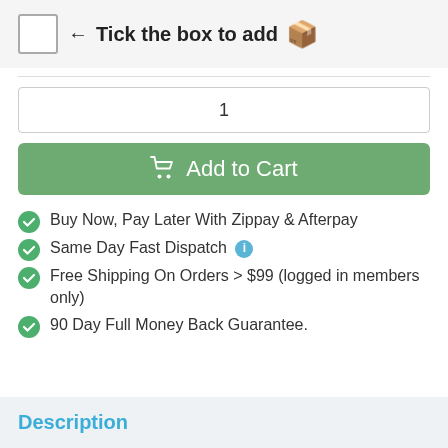← Tick the box to add 🎁
1
Add to Cart
Buy Now, Pay Later With Zippay & Afterpay
Same Day Fast Dispatch ℹ
Free Shipping On Orders > $99 (logged in members only)
90 Day Full Money Back Guarantee.
Description